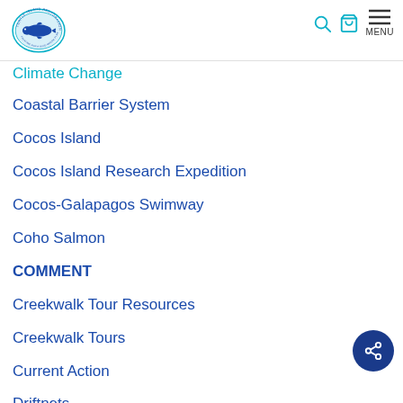Turtle Island Restoration Network — MENU
Climate Change
Coastal Barrier System
Cocos Island
Cocos Island Research Expedition
Cocos-Galapagos Swimway
Coho Salmon
COMMENT
Creekwalk Tour Resources
Creekwalk Tours
Current Action
Driftnets
Eastern Tropical Pacific...